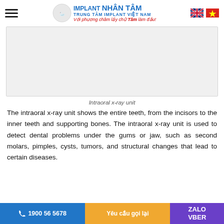IMPLANT NHÂN TÂM — TRUNG TÂM IMPLANT VIỆT NAM — Với phương châm lấy chữ Tâm làm đầu!
[Figure (photo): Intraoral x-ray unit equipment photo (placeholder light grey area)]
Intraoral x-ray unit
The intraoral x-ray unit shows the entire teeth, from the incisors to the inner teeth and supporting bones. The intraoral x-ray unit is used to detect dental problems under the gums or jaw, such as second molars, pimples, cysts, tumors, and structural changes that lead to certain diseases.
1900 56 5678  |  Yêu cầu gọi lại  |  ZALO  VBER